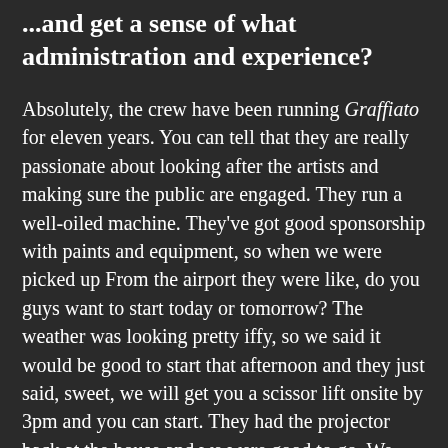...and get a sense of what administration and experience?
Absolutely, the crew have been running Graffiato for eleven years. You can tell that they are really passionate about looking after the artists and making sure the public are engaged. They run a well-oiled machine. They've got good sponsorship with paints and equipment, so when we were picked up From the airport they were like, do you guys want to start today or tomorrow? The weather was looking pretty iffy, so we said it would be good to start that afternoon and they just said, sweet, we will get you a scissor lift onsite by 3pm and you can start. They had the projector back at the house and we were good to go. We were well looked